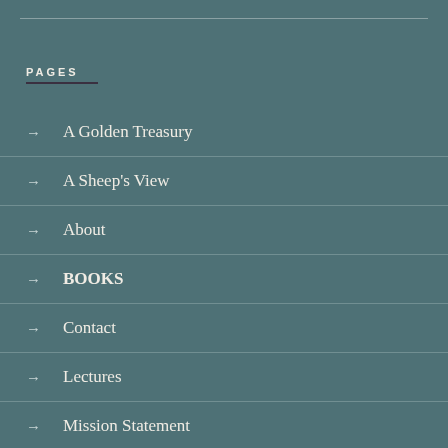PAGES
→ A Golden Treasury
→ A Sheep's View
→ About
→ BOOKS
→ Contact
→ Lectures
→ Mission Statement